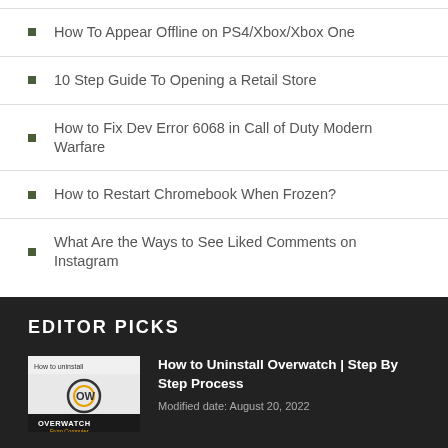How To Appear Offline on PS4/Xbox/Xbox One
10 Step Guide To Opening a Retail Store
How to Fix Dev Error 6068 in Call of Duty Modern Warfare
How to Restart Chromebook When Frozen?
What Are the Ways to See Liked Comments on Instagram
EDITOR PICKS
[Figure (photo): Overwatch game thumbnail showing characters and logo with text 'How to uninstall OVERWATCH From Computer']
How to Uninstall Overwatch | Step By Step Process
Modified date: August 20, 2022
[Figure (photo): GTA 5 hydraulics thumbnail with yellow text 'HOW TO USE HYDRAULICS' on dark background]
How to Use Hydraulics in GTA 5 – Step by Step